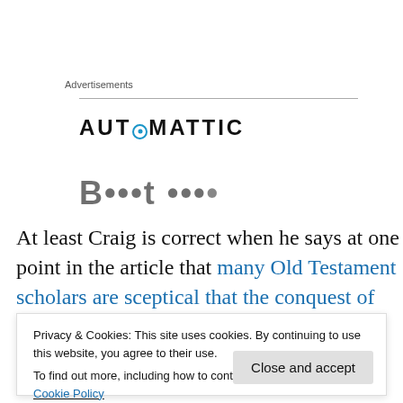Advertisements
[Figure (logo): Automattic logo with stylized O containing a blue circle and dot]
At least Craig is correct when he says at one point in the article that many Old Testament scholars are sceptical that the conquest of Canaan was an actual historical event, but
Privacy & Cookies: This site uses cookies. By continuing to use this website, you agree to their use.
To find out more, including how to control cookies, see here: Cookie Policy
Close and accept